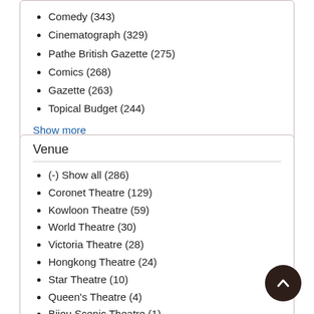Comedy (343)
Cinematograph (329)
Pathe British Gazette (275)
Comics (268)
Gazette (263)
Topical Budget (244)
Show more
Venue
(-) Show all (286)
Coronet Theatre (129)
Kowloon Theatre (59)
World Theatre (30)
Victoria Theatre (28)
Hongkong Theatre (24)
Star Theatre (10)
Queen's Theatre (4)
Bijou Scenic Theatre (1)
Grand Theatre (1)